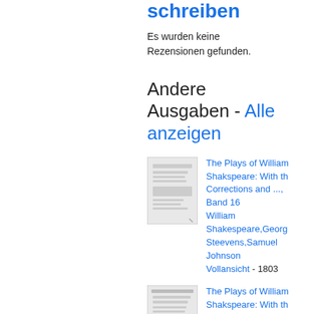sagen - Rezension schreiben
Es wurden keine Rezensionen gefunden.
Andere Ausgaben - Alle anzeigen
[Figure (illustration): Thumbnail of book cover for The Plays of William Shakspeare Band 16]
The Plays of William Shakspeare: With the Corrections and ..., Band 16
William Shakespeare, George Steevens, Samuel Johnson
Vollansicht - 1803
[Figure (illustration): Thumbnail of book cover for The Plays of William Shakspeare second entry]
The Plays of William Shakspeare: With the Corrections and ...,